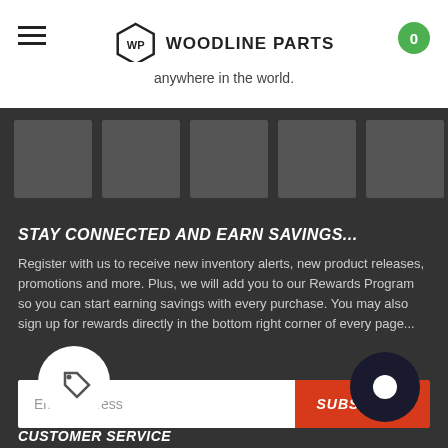WP WOODLINE PARTS
anywhere in the world.
[Figure (photo): Five placeholder image thumbnails in a row]
STAY CONNECTED AND EARN SAVINGS...
Register with us to receive new inventory alerts, new product releases, promotions and more. Plus, we will add you to our Rewards Program so you can start earning savings with every purchase. You may also sign up for rewards directly in the bottom right corner of every page...
Email address
SUBSCRIBE
CUSTOMER SERVICE